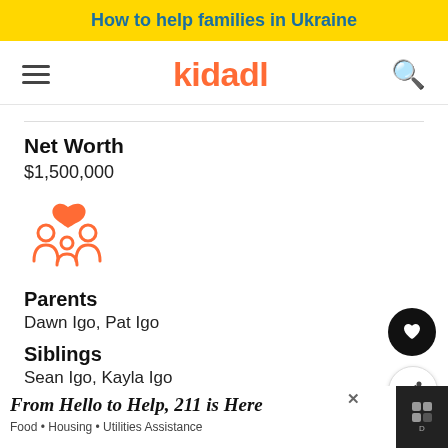How to help families in Ukraine
[Figure (logo): Kidadl website navigation bar with hamburger menu, kidadl logo in orange, and search icon]
Net Worth
$1,500,000
[Figure (illustration): Orange family icon with heart above two adults and a child]
Parents
Dawn Igo, Pat Igo
Siblings
Sean Igo, Kayla Igo
[Figure (screenshot): Bottom advertisement banner: From Hello to Help, 211 is Here. Food • Housing • Utilities Assistance]